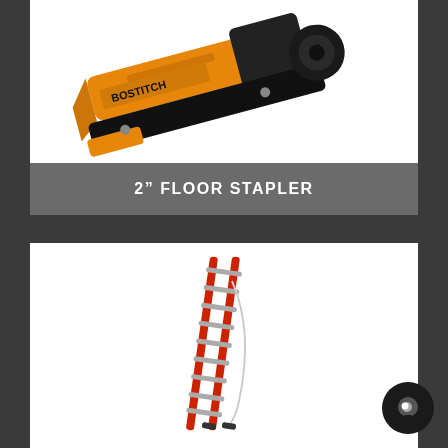[Figure (photo): Photo of a Bostitch 2-inch floor stapler tool, orange and black, viewed from above at an angle]
2” FLOOR STAPLER
[Figure (photo): Photo of a red fiberglass extension ladder leaning at an angle against white background]